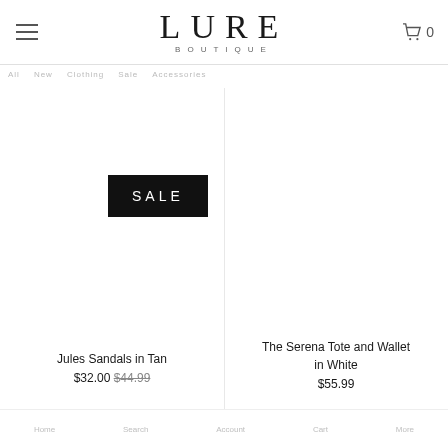LURE BOUTIQUE
[Figure (screenshot): SALE badge — black rectangle with white text reading SALE]
Jules Sandals in Tan
$32.00 $44.99
The Serena Tote and Wallet in White
$55.99